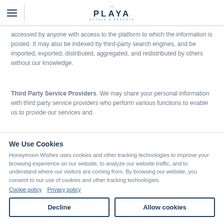PLAYA HOTELS & RESORTS
accessed by anyone with access to the platform to which the information is posted. It may also be indexed by third-party search engines, and be imported, exported, distributed, aggregated, and redistributed by others without our knowledge.
Third Party Service Providers. We may share your personal information with third party service providers who perform various functions to enable us to provide our services and
We Use Cookies
Honeymoon Wishes uses cookies and other tracking technologies to improve your browsing experience on our website, to analyze our website traffic, and to understand where our visitors are coming from. By browsing our website, you consent to our use of cookies and other tracking technologies.
Cookie policy   Privacy policy
Decline   Allow cookies